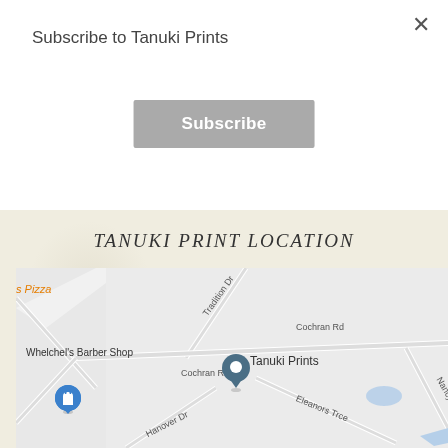Subscribe to Tanuki Prints
Subscribe
TANUKI PRINT LOCATION
[Figure (map): Google Maps screenshot showing the location of Tanuki Prints on Cochran Rd, with nearby landmarks including Whelchel's Barber Shop and s Pizza, and street labels for Tradition Dr, Hanover Dr, Eleanors Trce, and Nancy Creek Rd.]